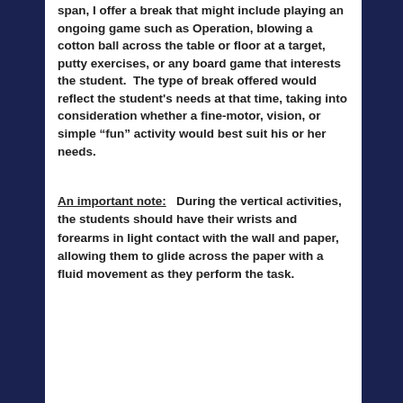span, I offer a break that might include playing an ongoing game such as Operation, blowing a cotton ball across the table or floor at a target, putty exercises, or any board game that interests the student.  The type of break offered would reflect the student's needs at that time, taking into consideration whether a fine-motor, vision, or simple “fun” activity would best suit his or her needs.
An important note:   During the vertical activities, the students should have their wrists and forearms in light contact with the wall and paper, allowing them to glide across the paper with a fluid movement as they perform the task.